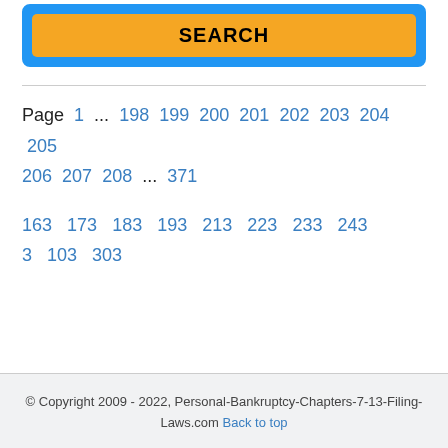[Figure (other): Orange search button inside a blue bordered box]
Page 1 ... 198 199 200 201 202 203 204 205 206 207 208 ... 371
163 173 183 193 213 223 233 243 3 103 303
© Copyright 2009 - 2022, Personal-Bankruptcy-Chapters-7-13-Filing-Laws.com Back to top